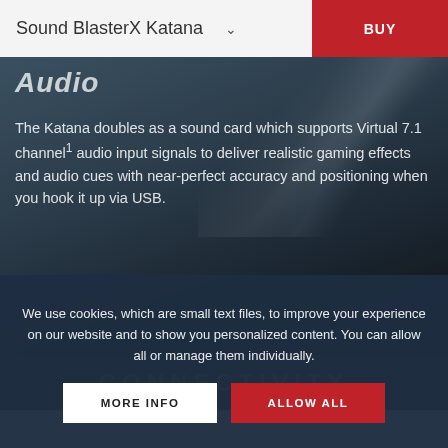Sound BlasterX Katana
Audio
The Katana doubles as a sound card which supports Virtual 7.1 channel¹ audio input signals to deliver realistic gaming effects and audio cues with near-perfect accuracy and positioning when you hook it up via USB.
CONNECTIVITY
We use cookies, which are small text files, to improve your experience on our website and to show you personalized content. You can allow all or manage them individually.
MORE INFO
ALLOW ALL